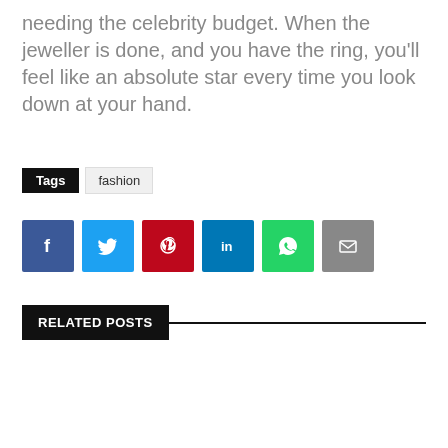needing the celebrity budget. When the jeweller is done, and you have the ring, you'll feel like an absolute star every time you look down at your hand.
Tags  fashion
[Figure (infographic): Social sharing buttons: Facebook (blue), Twitter (light blue), Pinterest (red), LinkedIn (dark blue), WhatsApp (green), Email (grey)]
RELATED POSTS